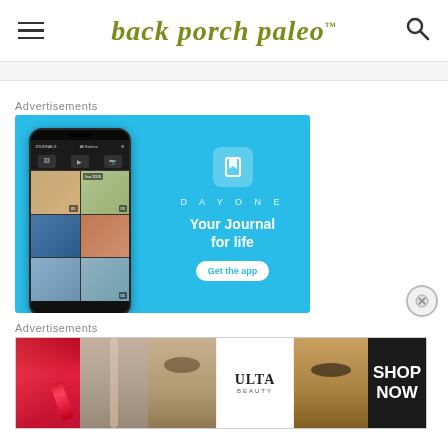back porch paleo™
Advertisements
[Figure (screenshot): DayOne journal app advertisement on blue background showing phone mockup with photo journal entries, DayOne brand logo, text 'Your Journal for life' and 'Get the app' button]
Advertisements
[Figure (photo): Ulta Beauty advertisement showing makeup images including lips with red lipstick, makeup brush, eye with eyeshadow, Ulta Beauty logo, dramatic eye, and SHOP NOW text]